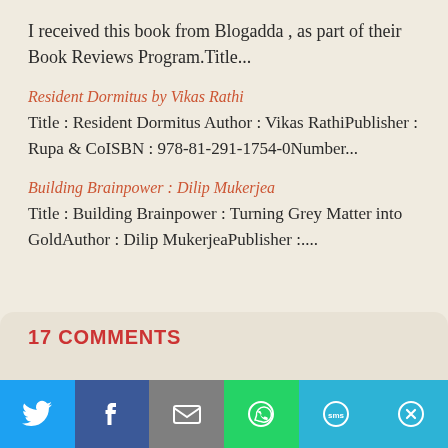I received this book from Blogadda , as part of their Book Reviews Program.Title...
Resident Dormitus by Vikas Rathi
Title : Resident Dormitus Author : Vikas RathiPublisher : Rupa & CoISBN : 978-81-291-1754-0Number...
Building Brainpower : Dilip Mukerjea
Title : Building Brainpower : Turning Grey Matter into GoldAuthor : Dilip MukerjeaPublisher :....
17 COMMENTS
[Figure (infographic): Social share bar with Twitter, Facebook, Email, WhatsApp, SMS, and More buttons]